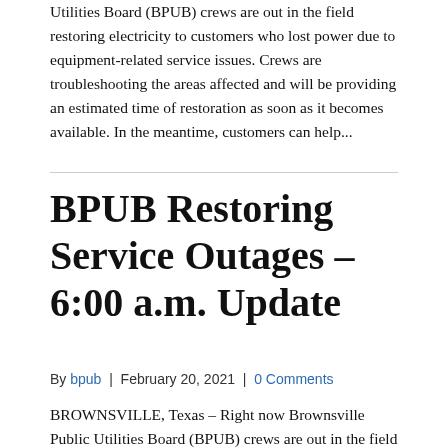Utilities Board (BPUB) crews are out in the field restoring electricity to customers who lost power due to equipment-related service issues. Crews are troubleshooting the areas affected and will be providing an estimated time of restoration as soon as it becomes available. In the meantime, customers can help...
BPUB Restoring Service Outages – 6:00 a.m. Update
By bpub | February 20, 2021 | 0 Comments
BROWNSVILLE, Texas – Right now Brownsville Public Utilities Board (BPUB) crews are out in the field restoring electricity to customers who lost power due to equipment-related service issues. Crews are troubleshooting the areas affected and will be providing an estimated time of